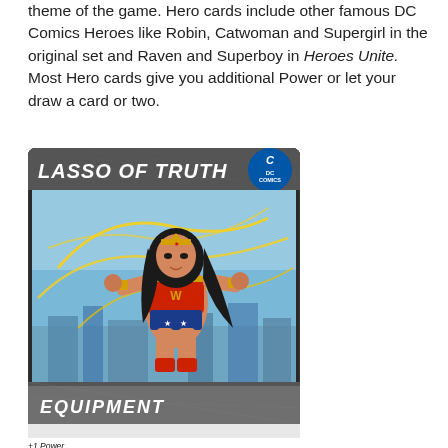theme of the game. Hero cards include other famous DC Comics Heroes like Robin, Catwoman and Supergirl in the original set and Raven and Superboy in Heroes Unite. Most Hero cards give you additional Power or let your draw a card or two.
[Figure (illustration): A DC Comics card called 'Lasso of Truth' showing Wonder Woman in action with a golden lasso against a city background. Card type is Equipment. Cost 2. +1 Power. Defense: You may discard this card to avoid an Attack. If you do, draw a card.]